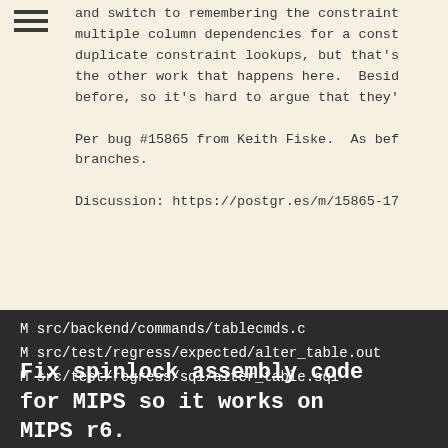and switch to remembering the constraint multiple column dependencies for a const duplicate constraint lookups, but that's the other work that happens here. Besid before, so it's hard to argue that they'

Per bug #15865 from Keith Fiske. As bef branches.

Discussion: https://postgr.es/m/15865-17
M src/backend/commands/tablecmds.c
M src/test/regress/expected/alter_table.out
M src/test/regress/sql/alter_table.sql
Fix spinlock assembly code for MIPS so it works on MIPS r6.